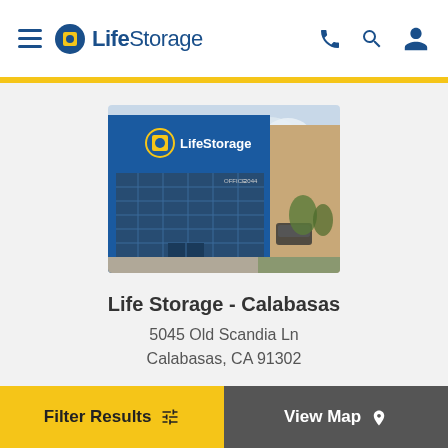[Figure (logo): Life Storage logo with hamburger menu icon on the left and phone, search, account icons on the right]
[Figure (photo): Exterior photo of Life Storage facility in Calabasas — blue building facade with Life Storage signage and glass entrance]
Life Storage - Calabasas
5045 Old Scandia Ln
Calabasas, CA 91302
(747) 400-0217
View on Map
Filter Results
View Map